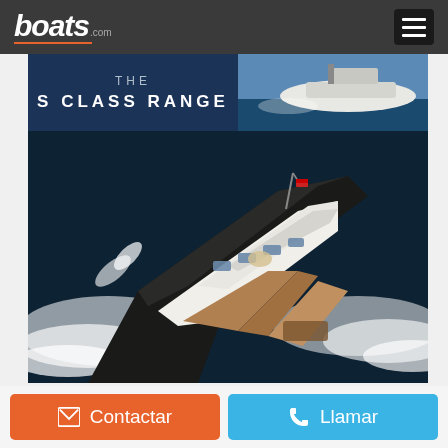boats.com
[Figure (photo): Banner advertisement for 'THE S CLASS RANGE' with navy blue background and a photo of a white yacht on blue water]
[Figure (photo): Aerial/overhead view of a large white luxury motor yacht speeding across dark blue water, leaving a white wake, with teak decking visible on stern]
Contactar
Llamar